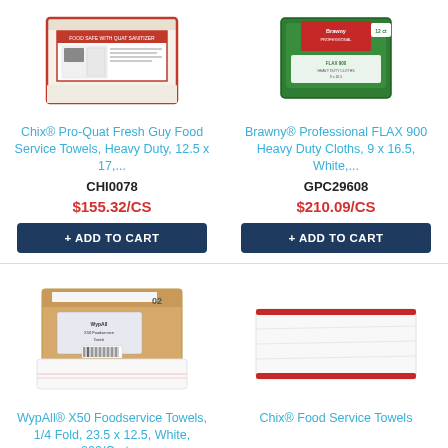[Figure (photo): Chix Pro-Quat Fresh Guy Food Service Towels box product image]
[Figure (photo): Brawny Professional FLAX 900 Heavy Duty Cloths green box product image]
Chix® Pro-Quat Fresh Guy Food Service Towels, Heavy Duty, 12.5 x 17,...
Brawny® Professional FLAX 900 Heavy Duty Cloths, 9 x 16.5, White,...
CHI0078
GPC29608
$155.32/CS
$210.09/CS
+ ADD TO CART
+ ADD TO CART
[Figure (photo): WypAll X50 Foodservice Towels box with white towels, product image]
[Figure (photo): Chix Food Service Towels flat white towel with red stripe, product image]
WypAll® X50 Foodservice Towels, 1/4 Fold, 23.5 x 12.5, White, 200/Carton
Chix® Food Service Towels
KCC06053